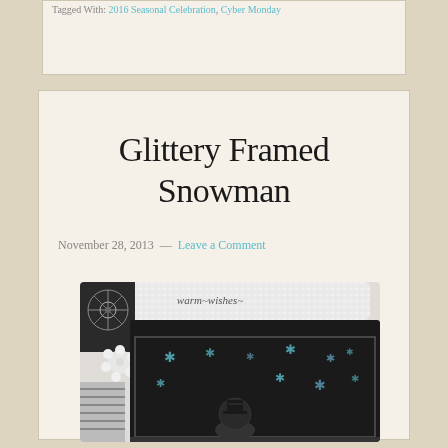Tagged With: 2016 Seasonal Celebration, Cyber Monday
Glittery Framed Snowman
November 28, 2013 — Leave a Comment
[Figure (photo): A crafted glittery framed snowman decoration featuring black background with snowflake patterns, white glittery accents, pearl flower embellishments, and a snowman figure. Text reads 'warm wishes' at the top.]